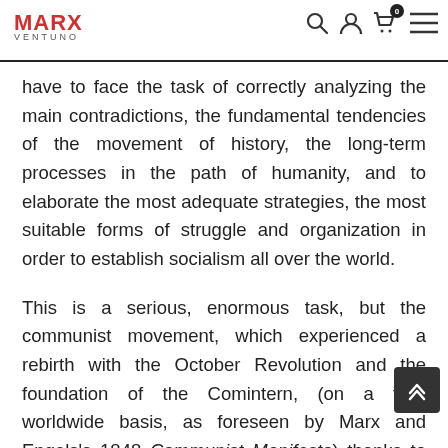MARX VENTUNO — navigation header with search, user, cart (0), and menu icons
have to face the task of correctly analyzing the main contradictions, the fundamental tendencies of the movement of history, the long-term processes in the path of humanity, and to elaborate the most adequate strategies, the most suitable forms of struggle and organization in order to establish socialism all over the world.
This is a serious, enormous task, but the communist movement, which experienced a rebirth with the October Revolution and the foundation of the Comintern, (on a fully worldwide basis, as foreseen by Marx and Engels's 1848 Communist Manifesto) thanks to Lenin's analysis of imperialism and to the consequent political strategy that united the proletarians of capitalist societies and the oppressed peoples of colonies and semi-colonies — cannot